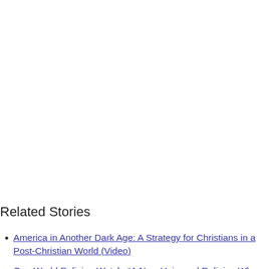Related Stories
America in Another Dark Age: A Strategy for Christians in a Post-Christian World (Video)
One World Religion Watch: “A New Universal Religion Where